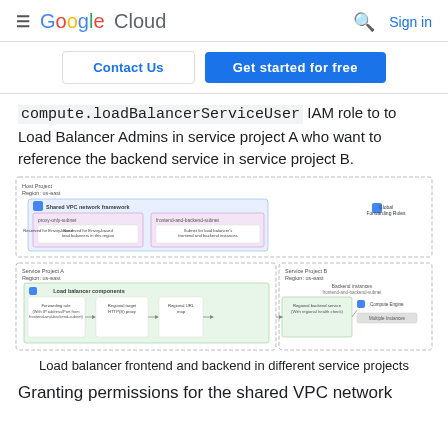Google Cloud  Sign in
Contact Us  Get started for free
compute.loadBalancerServiceUser IAM role to to Load Balancer Admins in service project A who want to reference the backend service in service project B.
[Figure (engineering-diagram): Network architecture diagram showing Host Project with Shared VPC network framework containing proxy-only subnet and frontend-and-backend-subnet boxes, with Global Forwarding Rules on right. Below, Service Project A (Region: us-east) shows load balancer components: Forwarding rule, Regional target HTTP(S) proxy, Regional URL map, Regional backend service with Compute Engine and Multiple Instances. Service Project B (Region: us-east) shows Backend instances in frontend-and-backend-subnet.]
Load balancer frontend and backend in different service projects
Granting permissions for the shared VPC network